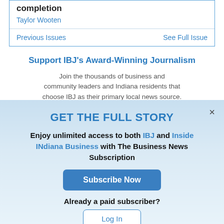completion
Taylor Wooten
Previous Issues
See Full Issue
Support IBJ's Award-Winning Journalism
Join the thousands of business and community leaders and Indiana residents that choose IBJ as their primary local news source.
GET THE FULL STORY
Enjoy unlimited access to both IBJ and Inside INdiana Business with The Business News Subscription
Subscribe Now
Already a paid subscriber?
Log In